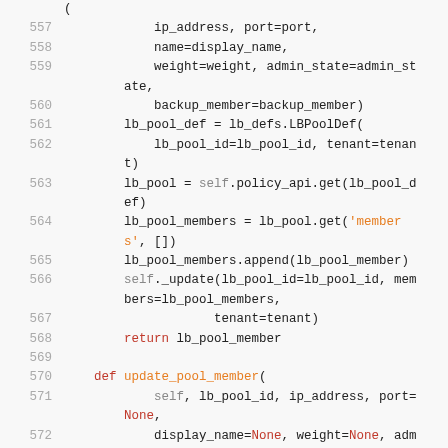Code listing lines 557-572 showing Python code for load balancer pool member functions
557: ip_address, port=port,
558: name=display_name,
559: weight=weight, admin_state=admin_state,
560: backup_member=backup_member)
561: lb_pool_def = lb_defs.LBPoolDef(
562: lb_pool_id=lb_pool_id, tenant=tenant)
563: lb_pool = self.policy_api.get(lb_pool_def)
564: lb_pool_members = lb_pool.get('members', [])
565: lb_pool_members.append(lb_pool_member)
566: self._update(lb_pool_id=lb_pool_id, members=lb_pool_members,
567: tenant=tenant)
568: return lb_pool_member
569:
570: def update_pool_member(
571: self, lb_pool_id, ip_address, port=None,
572: display_name=None, weight=None, adm